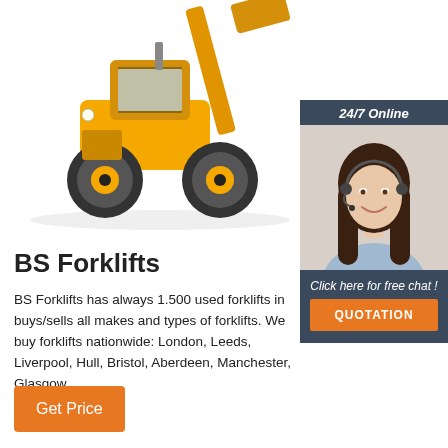[Figure (photo): Yellow front loader / forklift machine on white background]
[Figure (photo): Customer service agent woman wearing headset, smiling, with dark background panel showing '24/7 Online', 'Click here for free chat!' and an orange QUOTATION button]
BS Forklifts
BS Forklifts has always 1.500 used forklifts in buys/sells all makes and types of forklifts. We buy forklifts nationwide: London, Leeds, Liverpool, Hull, Bristol, Aberdeen, Manchester, Glasgow
Get Price